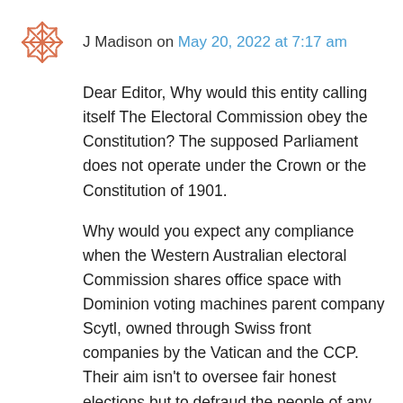[Figure (illustration): Coral-colored decorative snowflake or virus-like avatar icon]
J Madison on May 20, 2022 at 7:17 am
Dear Editor, Why would this entity calling itself The Electoral Commission obey the Constitution? The supposed Parliament does not operate under the Crown or the Constitution of 1901.
Why would you expect any compliance when the Western Australian electoral Commission shares office space with Dominion voting machines parent company Scytl, owned through Swiss front companies by the Vatican and the CCP. Their aim isn’t to oversee fair honest elections but to defraud the people of any chance to remove the criminals from power. It exists to continue the illusion of democracy.